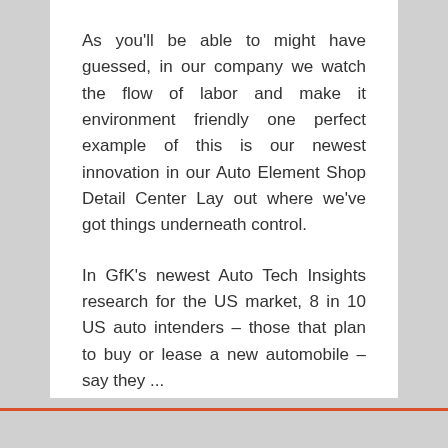As you'll be able to might have guessed, in our company we watch the flow of labor and make it environment friendly one perfect example of this is our newest innovation in our Auto Element Shop Detail Center Lay out where we've got things underneath control.
In GfK's newest Auto Tech Insights research for the US market, 8 in 10 US auto intenders – those that plan to buy or lease a new automobile – say they ...
Continue reading »